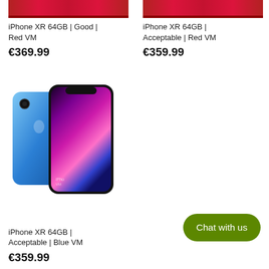[Figure (photo): Cropped top of iPhone XR in red color — only bottom portion of the product image visible]
iPhone XR 64GB | Good | Red VM
€369.99
[Figure (photo): Cropped top of iPhone XR in red color — only bottom portion of the product image visible]
iPhone XR 64GB | Acceptable | Red VM
€359.99
[Figure (photo): iPhone XR in blue color — front and back view showing blue aluminum frame and colorful screen]
iPhone XR 64GB | Acceptable | Blue VM
€359.99
Chat with us